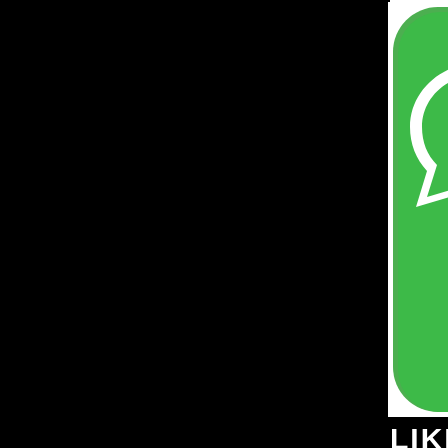[Figure (logo): WhatsApp logo icon — green rounded square with white speech bubble containing a phone icon, partially cropped on the right side, at top-right of page]
LIKE OUR
[Figure (logo): Facebook Like / thumbs up button icon — blue background with white thumbs up hand icon, partially cropped on the right side]
12 Little Kno